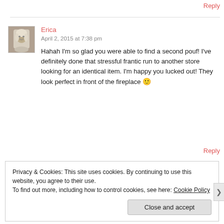Reply
[Figure (photo): Small avatar/profile photo of a woman with blonde hair, black and white style, square thumbnail]
Erica
April 2, 2015 at 7:38 pm
Hahah I'm so glad you were able to find a second pouf! I've definitely done that stressful frantic run to another store looking for an identical item. I'm happy you lucked out! They look perfect in front of the fireplace 🙂
Reply
Privacy & Cookies: This site uses cookies. By continuing to use this website, you agree to their use.
To find out more, including how to control cookies, see here: Cookie Policy
Close and accept